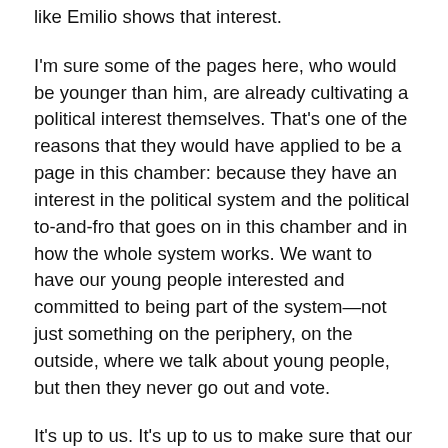like Emilio shows that interest.
I'm sure some of the pages here, who would be younger than him, are already cultivating a political interest themselves. That's one of the reasons that they would have applied to be a page in this chamber: because they have an interest in the political system and the political to-and-fro that goes on in this chamber and in how the whole system works. We want to have our young people interested and committed to being part of the system—not just something on the periphery, on the outside, where we talk about young people, but then they never go out and vote.
It's up to us. It's up to us to make sure that our leaders and the issues that we talk about in the campaign are the ones that motivate young people and people of all ages to get out and vote. That's how we're going to increase the voter turnout in elections. Back in my dad's day, when he was first elected in 1963, we would have had 70%—well, in Renfrew county we would have had 80%, but all across